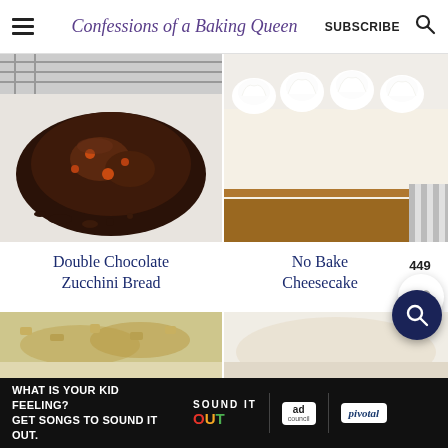Confessions of a Baking Queen | SUBSCRIBE
[Figure (photo): Sliced double chocolate zucchini bread on a white surface with a cooling rack visible in the background]
[Figure (photo): No bake cheesecake topped with swirled whipped cream on a graham cracker crust, viewed from the side]
Double Chocolate Zucchini Bread
No Bake Cheesecake
449
[Figure (photo): Partial view of a baked dish at bottom left]
[Figure (photo): Partial view of a baked dish at bottom right]
[Figure (other): Advertisement banner: WHAT IS YOUR KID FEELING? GET SONGS TO SOUND IT OUT. Sound It Out ad campaign with ad council and pivotal logos]